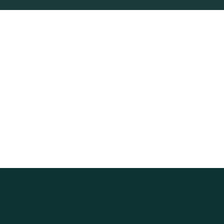[Figure (photo): Large white/blank image area in the center of the page, representing a garden or outdoor scene (content not visible at this crop).]
LEARN
Get Spring Garden Ready
Spring is the time to get outside. Whatever your